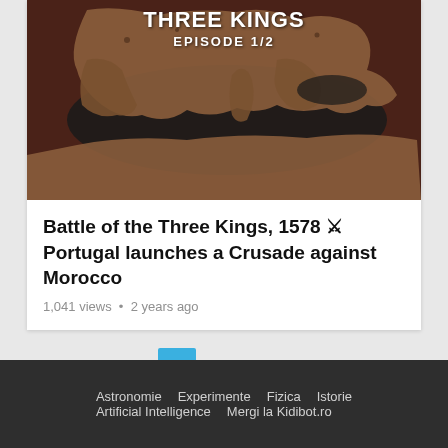[Figure (screenshot): Video thumbnail showing a stylized dark map of Europe and the Mediterranean region. White bold text at top reads 'THREE KINGS' and below it 'EPISODE 1/2'.]
Battle of the Three Kings, 1578 ⚔ Portugal launches a Crusade against Morocco
1,041 views • 2 years ago
1   2   Next
Astronomie  Experimente  Fizica  Istorie  Artificial Intelligence  Mergi la Kidibot.ro